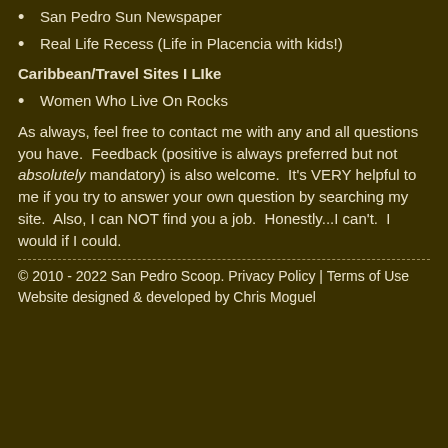San Pedro Sun Newspaper
Real Life Recess (Life in Placencia with kids!)
Caribbean/Travel Sites I LIke
Women Who Live On Rocks
As always, feel free to contact me with any and all questions you have.  Feedback (positive is always preferred but not absolutely mandatory) is also welcome.  It’s VERY helpful to me if you try to answer your own question by searching my site.  Also, I can NOT find you a job.  Honestly...I can’t.  I would if I could.
© 2010 - 2022 San Pedro Scoop. Privacy Policy | Terms of Use
Website designed & developed by Chris Moguel